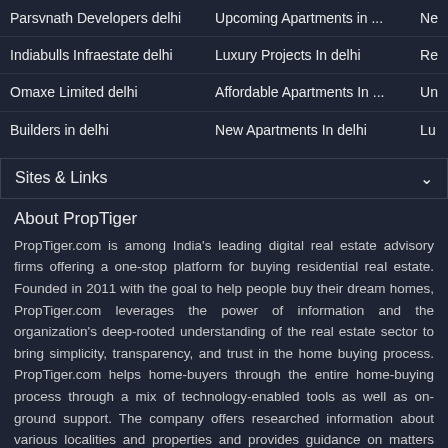Parsvnath Developers delhi | Upcoming Apartments in ... | Ne
Indiabulls Infraestate delhi | Luxury Projects In delhi | Re
Omaxe Limited delhi | Affordable Apartments In ... | Un
Builders in delhi | New Apartments In delhi | Lu
Sites & Links
About PropTiger
PropTiger.com is among India's leading digital real estate advisory firms offering a one-stop platform for buying residential real estate. Founded in 2011 with the goal to help people buy their dream homes, PropTiger.com leverages the power of information and the organization's deep-rooted understanding of the real estate sector to bring simplicity, transparency, and trust in the home buying process. PropTiger.com helps home-buyers through the entire home-buying process through a mix of technology-enabled tools as well as on-ground support. The company offers researched information about various localities and properties and provides guidance on matters pertaining to legal paperwork and loan assistance to successfully fulfill a transaction.